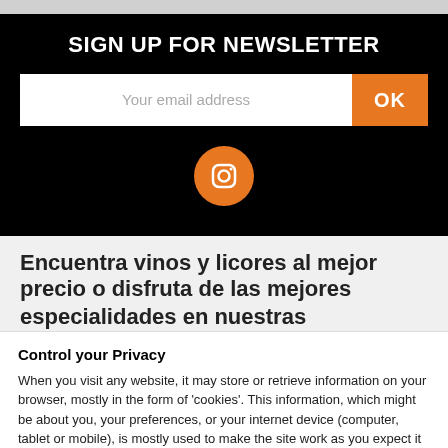SIGN UP FOR NEWSLETTER
Your email address
OK
[Figure (logo): Instagram icon in orange circle]
Encuentra vinos y licores al mejor precio o disfruta de las mejores especialidades en nuestras
Control your Privacy
When you visit any website, it may store or retrieve information on your browser, mostly in the form of 'cookies'. This information, which might be about you, your preferences, or your internet device (computer, tablet or mobile), is mostly used to make the site work as you expect it to.
More info
Accept all